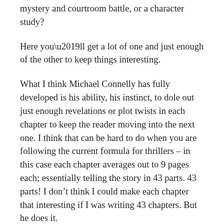mystery and courtroom battle, or a character study?
Here you’ll get a lot of one and just enough of the other to keep things interesting.
What I think Michael Connelly has fully developed is his ability, his instinct, to dole out just enough revelations or plot twists in each chapter to keep the reader moving into the next one. I think that can be hard to do when you are following the current formula for thrillers – in this case each chapter averages out to 9 pages each; essentially telling the story in 43 parts. 43 parts! I don’t think I could make each chapter that interesting if I was writing 43 chapters. But he does it.
The author always throws in a few plot twists